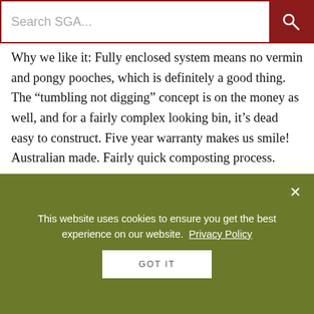Search SGA...
Why we like it: Fully enclosed system means no vermin and pongy pooches, which is definitely a good thing. The “tumbling not digging” concept is on the money as well, and for a fairly complex looking bin, it’s dead easy to construct. Five year warranty makes us smile! Australian made. Fairly quick composting process.
Why we don’t: Not always the easiest things to turn, especially if the bin is full and you are less than buff. Needs to be flipped a few times a day (ideally). Can’t be lodged up against the fence or behind the shed, as it needs a bit of clearance to flip it. The manufacturing process and materials used are not all that sustainable (why not used
This website uses cookies to ensure you get the best experience on our website.  Privacy Policy
GOT IT